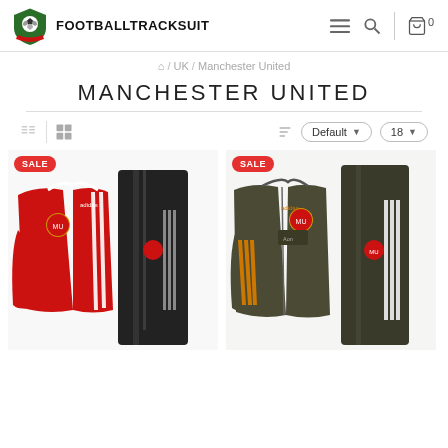FOOTBALLTRACKSUIT
🏠 / UK / Manchester United
MANCHESTER UNITED
Default ▾  18 ▾
[Figure (photo): Manchester United red Adidas tracksuit with jacket and black pants, SALE badge]
[Figure (photo): Manchester United olive/dark green Adidas tracksuit with jacket and pants, SALE badge]